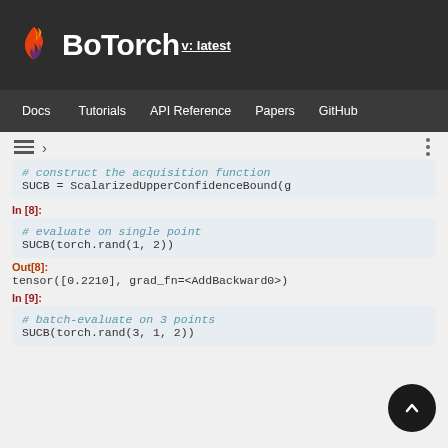[Figure (logo): BoTorch logo with flame icon and text 'BoTorch v: latest']
Docs  Tutorials  API Reference  Papers  GitHub
[Figure (screenshot): Navigation bar with hamburger menu and breadcrumb]
# construct the acquisition function
SUCB = ScalarizedUpperConfidenceBound(g
In [8]:
# evaluate on single point
SUCB(torch.rand(1, 2))
Out[8]:
tensor([0.2210], grad_fn=<AddBackward0>)
In [9]:
# batch-evaluate on 3 points
SUCB(torch.rand(3, 1, 2))